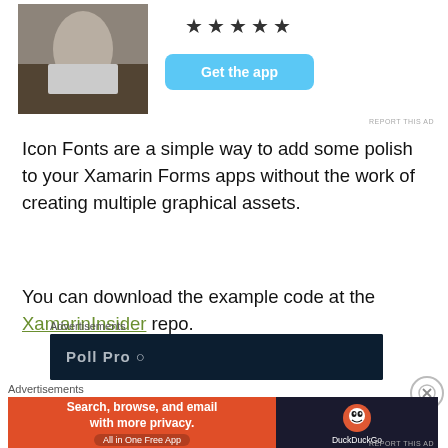[Figure (photo): Advertisement banner with a photo of a person sitting on rocks, five star rating, and a 'Get the app' button]
REPORT THIS AD
Icon Fonts are a simple way to add some polish to your Xamarin Forms apps without the work of creating multiple graphical assets.
You can download the example code at the XamarinInsider repo.
Advertisements
[Figure (screenshot): Dark blue advertisement banner (partially visible)]
Advertisements
[Figure (screenshot): DuckDuckGo advertisement: 'Search, browse, and email with more privacy. All in One Free App' on orange background with DuckDuckGo logo on dark background]